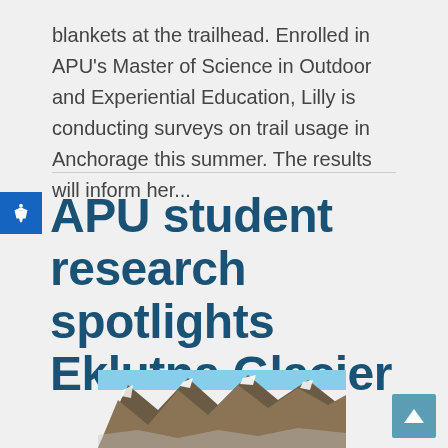blankets at the trailhead. Enrolled in APU's Master of Science in Outdoor and Experiential Education, Lilly is conducting surveys on trail usage in Anchorage this summer. The results will inform her...
APU student research spotlights Eklutna Glacier
[Figure (photo): Mountain landscape photo showing rocky peaks with snow patches and blue sky, related to Eklutna Glacier article]